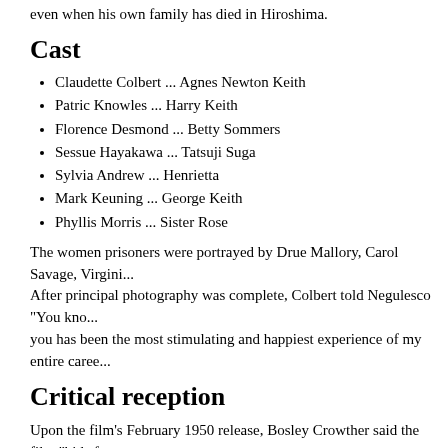even when his own family has died in Hiroshima.
Cast
Claudette Colbert ... Agnes Newton Keith
Patric Knowles ... Harry Keith
Florence Desmond ... Betty Sommers
Sessue Hayakawa ... Tatsuji Suga
Sylvia Andrew ... Henrietta
Mark Keuning ... George Keith
Phyllis Morris ... Sister Rose
The women prisoners were portrayed by Drue Mallory, Carol Savage, Virgini... After principal photography was complete, Colbert told Negulesco "You kno... you has been the most stimulating and happiest experience of my entire caree...
Critical reception
Upon the film's February 1950 release, Bosley Crowther said the film "bids fa... </> <blockquote>"Miss Colbert's performance is a beautifully modulated display... strain. And Mr. Hayakawa's calculation of the Japanese colonel is a rare acco... from whom she is early separated, and Florence Desmond is superb as oth...